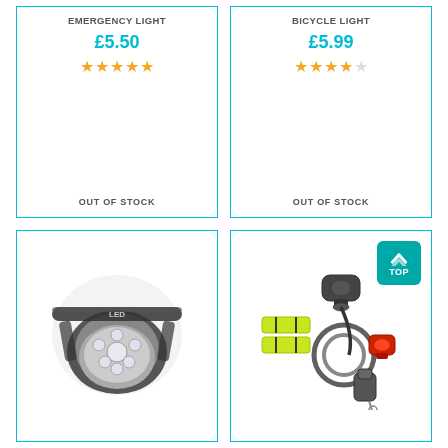EMERGENCY LIGHT
£5.50
★★★★★
OUT OF STOCK
BICYCLE LIGHT
£5.99
★★★★☆
OUT OF STOCK
[Figure (photo): Photo of a head torch/headlamp with multiple LEDs and black elastic headband]
[Figure (photo): Photo of a bicycle accessory kit including front light, rear light, cable lock, and reflective ankle bands, with TOP button overlay]